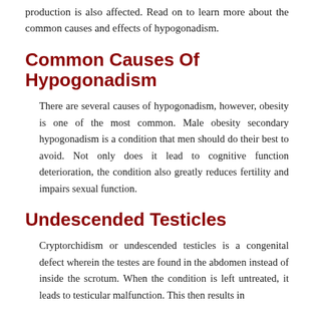production is also affected. Read on to learn more about the common causes and effects of hypogonadism.
Common Causes Of Hypogonadism
There are several causes of hypogonadism, however, obesity is one of the most common. Male obesity secondary hypogonadism is a condition that men should do their best to avoid. Not only does it lead to cognitive function deterioration, the condition also greatly reduces fertility and impairs sexual function.
Undescended Testicles
Cryptorchidism or undescended testicles is a congenital defect wherein the testes are found in the abdomen instead of inside the scrotum. When the condition is left untreated, it leads to testicular malfunction. This then results in